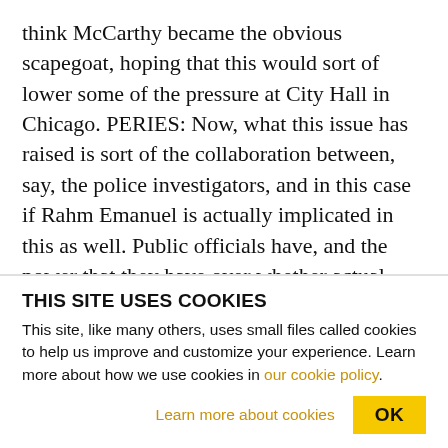think McCarthy became the obvious scapegoat, hoping that this would sort of lower some of the pressure at City Hall in Chicago. PERIES: Now, what this issue has raised is sort of the collaboration between, say, the police investigators, and in this case if Rahm Emanuel is actually implicated in this as well. Public officials have, and the power that they have over whether actual police officers are charged when the evidence is so clear, and brought to justice far sooner than they should have been. FRANKLIN: Yeah. I mean, this is a longstanding issue for folks
THIS SITE USES COOKIES
This site, like many others, uses small files called cookies to help us improve and customize your experience. Learn more about how we use cookies in our cookie policy.
Learn more about cookies
OK